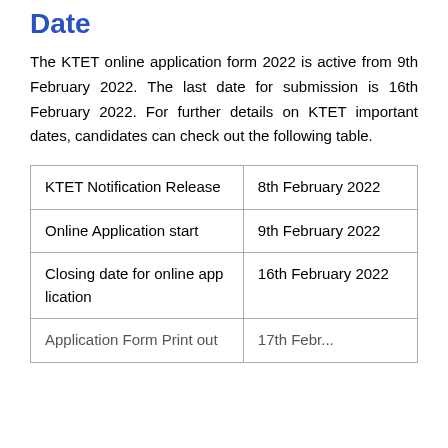Date
The KTET online application form 2022 is active from 9th February 2022. The last date for submission is 16th February 2022. For further details on KTET important dates, candidates can check out the following table.
| KTET Notification Release | 8th February 2022 |
| Online Application start | 9th February 2022 |
| Closing date for online application | 16th February 2022 |
| Application Form Print out | 17th February... |